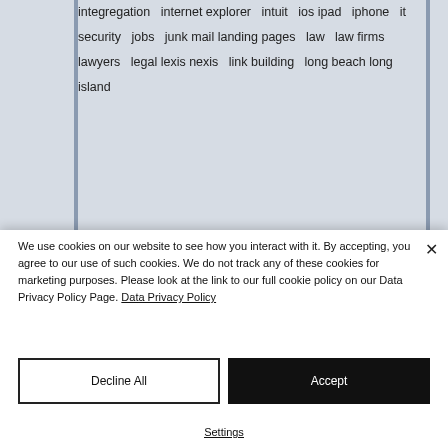integregation  internet explorer  intuit  ios
ipad  iphone  it security  jobs  junk mail
landing pages  law  law firms  lawyers  legal
lexis nexis  link building  long beach
long island
We use cookies on our website to see how you interact with it. By accepting, you agree to our use of such cookies. We do not track any of these cookies for marketing purposes. Please look at the link to our full cookie policy on our Data Privacy Policy Page. Data Privacy Policy
Decline All
Accept
Settings